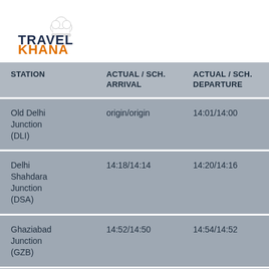[Figure (logo): TravelKhana logo with chef hat icon, TRAVEL in dark blue/navy, KHANA in orange, with decorative dots/circles below]
| STATION | ACTUAL / SCH. ARRIVAL | ACTUAL / SCH. DEPARTURE |
| --- | --- | --- |
| Old Delhi Junction (DLI) | origin/origin | 14:01/14:00 |
| Delhi Shahdara Junction (DSA) | 14:18/14:14 | 14:20/14:16 |
| Ghaziabad Junction (GZB) | 14:52/14:50 | 14:54/14:52 |
| Hapur Junction | 15:36/15:28 | 15:38/15:30 |